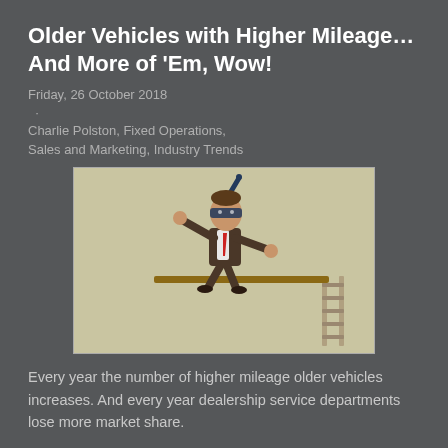Older Vehicles with Higher Mileage… And More of 'Em, Wow!
Friday, 26 October 2018
·
Charlie Polston, Fixed Operations, Sales and Marketing, Industry Trends
[Figure (illustration): Cartoon illustration of a businessman in a suit wearing a snorkel mask, balancing on a diving board above what appears to be an empty pool, with a ladder visible on the right side.]
Every year the number of higher mileage older vehicles increases. And every year dealership service departments lose more market share.